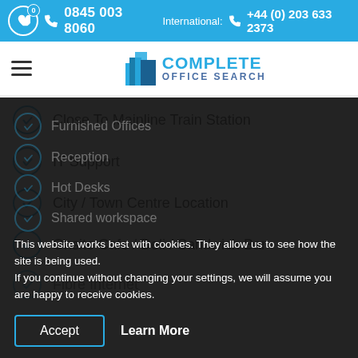0845 003 8060   International: +44 (0) 203 633 2373
[Figure (logo): Complete Office Search logo with blue building icon and COMPLETE OFFICE SEARCH text]
Close To Mainline Train Station
IT Support
City / Town Centre Location
Onsite Cafe / Deli / Sandwich Bar
Fibre Internet
Furnished Offices
Reception
Hot Desks
Shared workspace
This website works best with cookies. They allow us to see how the site is being used.
If you continue without changing your settings, we will assume you are happy to receive cookies.
Accept
Learn More